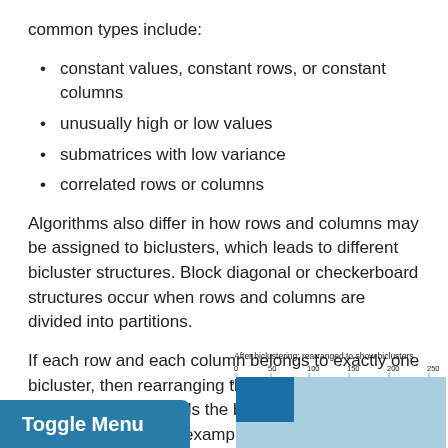common types include:
constant values, constant rows, or constant columns
unusually high or low values
submatrices with low variance
correlated rows or columns
Algorithms also differ in how rows and columns may be assigned to biclusters, which leads to different bicluster structures. Block diagonal or checkerboard structures occur when rows and columns are divided into partitions.
If each row and each column belongs to exactly one bicluster, then rearranging the rows and columns of the data matrix reveals the biclusters on the diagonal. Here is an example of this structure where biclusters have higher average values than the other rows and columns:
[Figure (other): Toggle Menu button (blue) and partial heatmap chart labeled 'After biclustering; rearranged to show biclusters' with x-axis 0 to 250]
After biclustering; rearranged to show biclusters